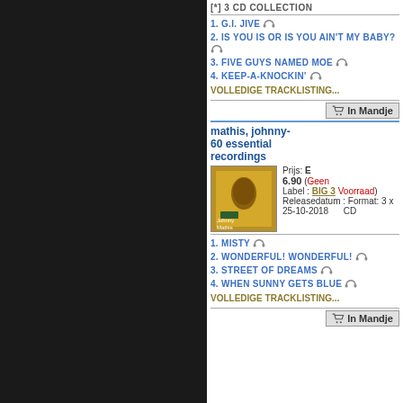[*] 3 CD COLLECTION
1. G.I. JIVE
2. IS YOU IS OR IS YOU AIN'T MY BABY?
3. FIVE GUYS NAMED MOE
4. KEEP-A-KNOCKIN'
VOLLEDIGE TRACKLISTING...
In Mandje
mathis, johnny-60 essential recordings
Prijs: E 6.90 (Geen Voorraad) Label : BIG 3 Releasedatum : 25-10-2018 Format: 3 x CD
1. MISTY
2. WONDERFUL! WONDERFUL!
3. STREET OF DREAMS
4. WHEN SUNNY GETS BLUE
VOLLEDIGE TRACKLISTING...
In Mandje